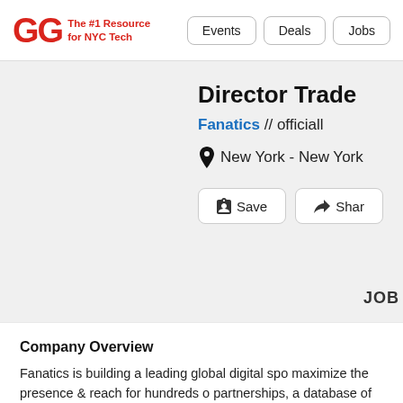GG The #1 Resource for NYC Tech | Events | Deals | Jobs
Director Trade
Fanatics // officiall
New York - New York
Save | Shar
JOB
Company Overview
Fanatics is building a leading global digital spo maximize the presence & reach for hundreds o partnerships, a database of more than 80 milli name, Fanatics is expanding beyond its positio now becoming a next-gen digital sports platfor